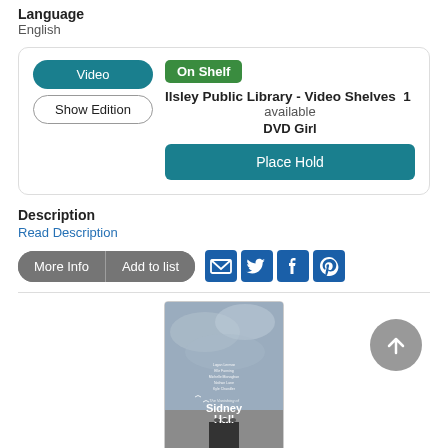Language
English
[Figure (screenshot): Library catalog card showing Video / Show Edition buttons on left, and On Shelf badge with Ilsley Public Library - Video Shelves 1 available, DVD Girl, and Place Hold button on right]
Description
Read Description
[Figure (screenshot): Action buttons: More Info, Add to list, and social sharing icons for email, Twitter, Facebook, Pinterest]
[Figure (photo): Movie poster for The Vanishing of Sidney Hall with grey cloudy sky and text listing cast members]